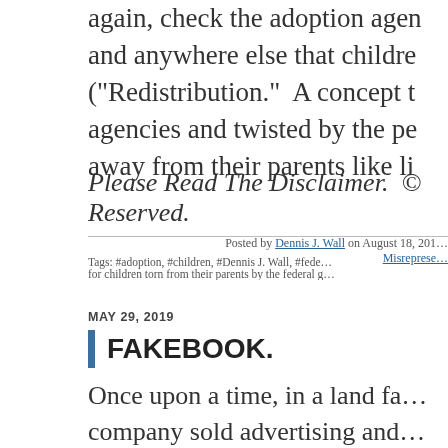again, check the adoption agen… and anywhere else that childre… ("Redistribution." A concept t… agencies and twisted by the pe… away from their parents like li…
Please Read The Disclaimer. © Reserved.
Posted by Dennis J. Wall on August 18, 201… Misreprese…
Tags: #adoption, #children, #Dennis J. Wall, #fede… for children torn from their parents by the federal g…
MAY 29, 2019
FAKEBOOK.
Once upon a time, in a land fa… company sold advertising and … everyone's fake news and d…